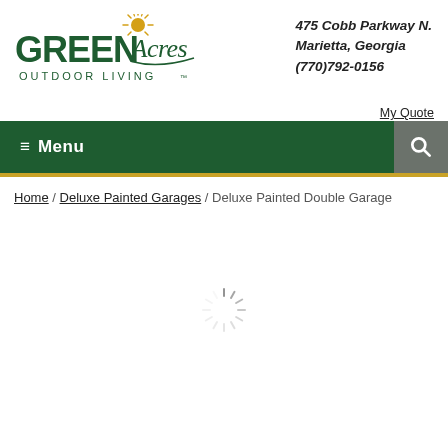[Figure (logo): Green Acres Outdoor Living logo with sun graphic above stylized tree]
475 Cobb Parkway N.
Marietta, Georgia
(770)792-0156
My Quote
≡ Menu
Home / Deluxe Painted Garages / Deluxe Painted Double Garage
[Figure (other): Loading spinner animation]